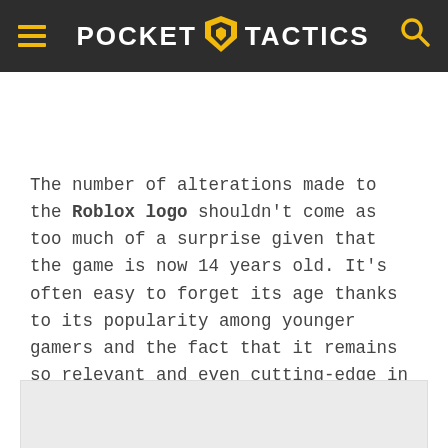POCKET TACTICS
The number of alterations made to the Roblox logo shouldn't come as too much of a surprise given that the game is now 14 years old. It's often easy to forget its age thanks to its popularity among younger gamers and the fact that it remains so relevant and even cutting-edge in many ways.
[Figure (other): Gray advertisement placeholder rectangle]